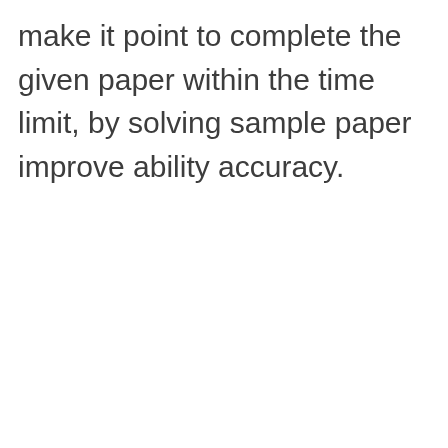make it point to complete the given paper within the time limit, by solving sample paper improve ability accuracy.